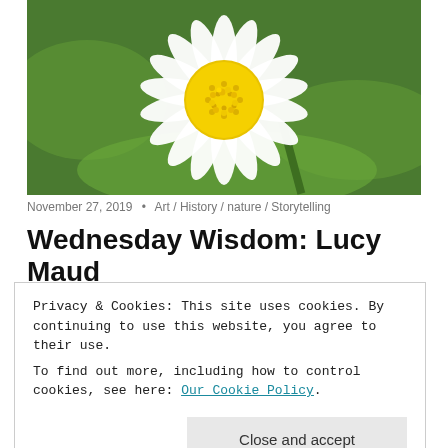[Figure (photo): Close-up macro photo of a white daisy flower with a bright yellow center against a green background]
November 27, 2019  •  Art / History / nature / Storytelling
Wednesday Wisdom: Lucy Maud
Privacy & Cookies: This site uses cookies. By continuing to use this website, you agree to their use.
To find out more, including how to control cookies, see here: Our Cookie Policy

Close and accept